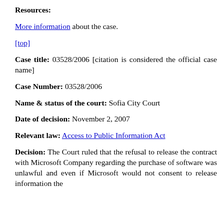Resources:
More information about the case.
[top]
Case title: 03528/2006 [citation is considered the official case name]
Case Number: 03528/2006
Name & status of the court: Sofia City Court
Date of decision: November 2, 2007
Relevant law: Access to Public Information Act
Decision: The Court ruled that the refusal to release the contract with Microsoft Company regarding the purchase of software was unlawful and even if Microsoft would not consent to release information the